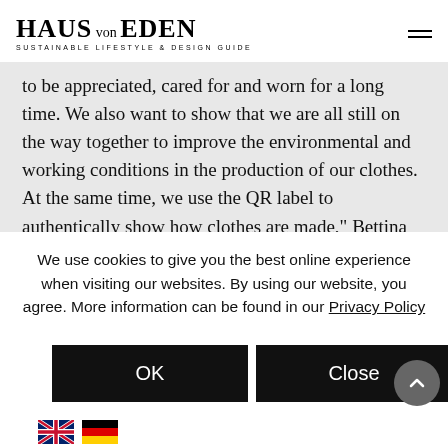HAUS von EDEN — SUSTAINABLE LIFESTYLE & DESIGN GUIDE
to be appreciated, cared for and worn for a long time. We also want to show that we are all still on the way together to improve the environmental and working conditions in the production of our clothes. At the same time, we use the QR label to authentically show how clothes are made," Bettina Bothe explains.
We use cookies to give you the best online experience when visiting our websites. By using our website, you agree. More information can be found in our Privacy Policy
OK
Close